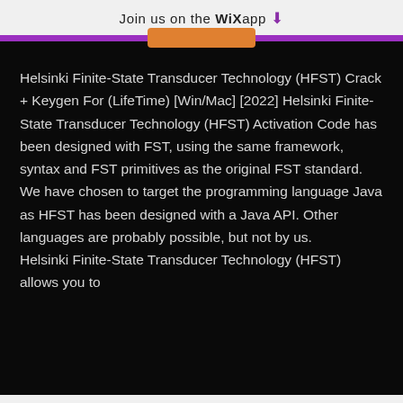Join us on the WiX app ⬇
Helsinki Finite-State Transducer Technology (HFST) Crack + Keygen For (LifeTime) [Win/Mac] [2022] Helsinki Finite-State Transducer Technology (HFST) Activation Code has been designed with FST, using the same framework, syntax and FST primitives as the original FST standard. We have chosen to target the programming language Java as HFST has been designed with a Java API. Other languages are probably possible, but not by us. Helsinki Finite-State Transducer Technology (HFST) allows you to